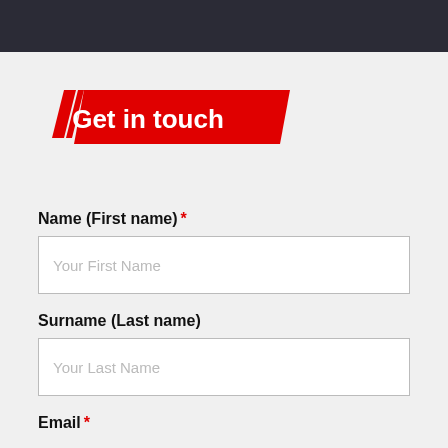Get in touch
Name (First name) *
Your First Name
Surname (Last name)
Your Last Name
Email *